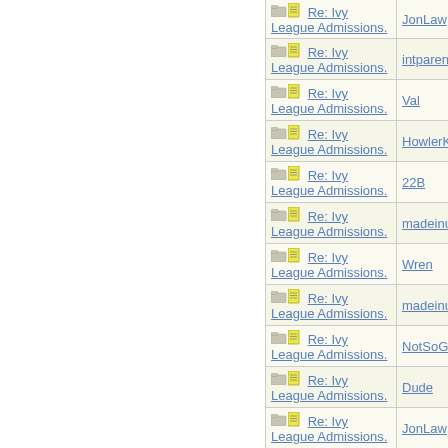| Thread | Author |
| --- | --- |
| Re: Ivy League Admissions. | JonLaw |
| Re: Ivy League Admissions. | intparent |
| Re: Ivy League Admissions. | Val |
| Re: Ivy League Admissions. | HowlerK |
| Re: Ivy League Admissions. | 22B |
| Re: Ivy League Admissions. | madeinu |
| Re: Ivy League Admissions. | Wren |
| Re: Ivy League Admissions. | madeinu |
| Re: Ivy League Admissions. | NotSoGi |
| Re: Ivy League Admissions. | Dude |
| Re: Ivy League Admissions. | JonLaw |